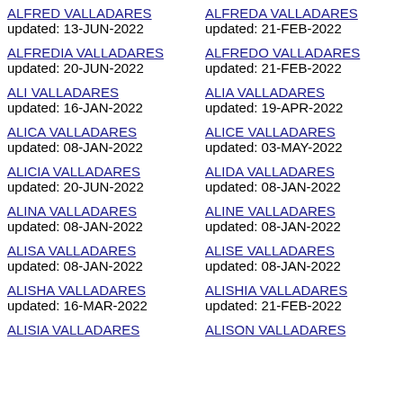ALFRED VALLADARES updated: 13-JUN-2022
ALFREDA VALLADARES updated: 21-FEB-2022
ALFREDIA VALLADARES updated: 20-JUN-2022
ALFREDO VALLADARES updated: 21-FEB-2022
ALI VALLADARES updated: 16-JAN-2022
ALIA VALLADARES updated: 19-APR-2022
ALICA VALLADARES updated: 08-JAN-2022
ALICE VALLADARES updated: 03-MAY-2022
ALICIA VALLADARES updated: 20-JUN-2022
ALIDA VALLADARES updated: 08-JAN-2022
ALINA VALLADARES updated: 08-JAN-2022
ALINE VALLADARES updated: 08-JAN-2022
ALISA VALLADARES updated: 08-JAN-2022
ALISE VALLADARES updated: 08-JAN-2022
ALISHA VALLADARES updated: 16-MAR-2022
ALISHIA VALLADARES updated: 21-FEB-2022
ALISIA VALLADARES
ALISON VALLADARES